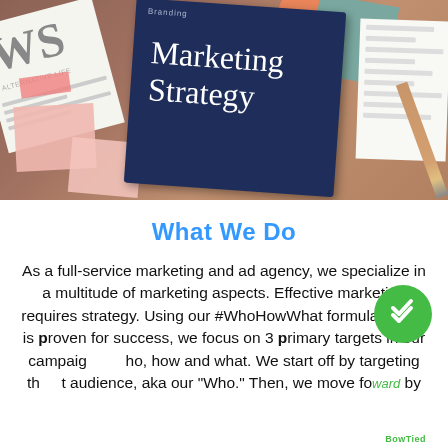[Figure (photo): Overhead photo of a desk with a dark navy blue notebook titled 'Marketing Strategy' with 'Branding' label, surrounded by pink sticky notes, a newspaper, a teal book, a coral circle, a receipt/list, and a pencil on a wooden surface.]
What We Do
As a full-service marketing and ad agency, we specialize in a multitude of marketing aspects. Effective marketing requires strategy. Using our #WhoHowWhat formula, which is proven for success, we focus on 3 primary targets in our campaigns: who, how and what. We start off by targeting the right audience, aka our "Who." Then, we move forward by